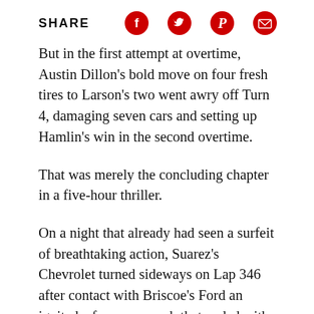SHARE
But in the first attempt at overtime, Austin Dillon’s bold move on four fresh tires to Larson’s two went awry off Turn 4, damaging seven cars and setting up Hamlin’s win in the second overtime.
That was merely the concluding chapter in a five-hour thriller.
On a night that already had seen a surfeit of breathtaking action, Suarez’s Chevrolet turned sideways on Lap 346 after contact with Briscoe’s Ford an ignited a four-car wreck that ended with Chris Buescher’s Ford barrel-rolling five times through the frontstretch infield and landing on its